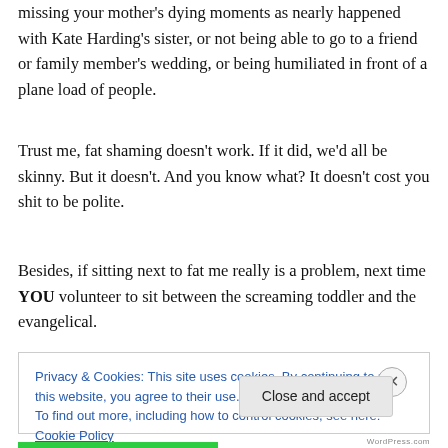missing your mother's dying moments as nearly happened with Kate Harding's sister, or not being able to go to a friend or family member's wedding, or being humiliated in front of a plane load of people.
Trust me, fat shaming doesn't work. If it did, we'd all be skinny. But it doesn't. And you know what? It doesn't cost you shit to be polite.
Besides, if sitting next to fat me really is a problem, next time YOU volunteer to sit between the screaming toddler and the evangelical.
Privacy & Cookies: This site uses cookies. By continuing to use this website, you agree to their use.
To find out more, including how to control cookies, see here: Cookie Policy